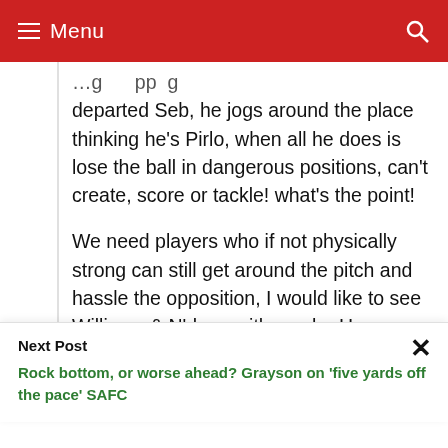☰ Menu
departed Seb, he jogs around the place thinking he's Pirlo, when all he does is lose the ball in dangerous positions, can't create, score or tackle! what's the point!
We need players who if not physically strong can still get around the pitch and hassle the opposition, I would like to see Williams & N'dong with maybe Honeyman in the middle with
Next Post
Rock bottom, or worse ahead? Grayson on 'five yards off the pace' SAFC